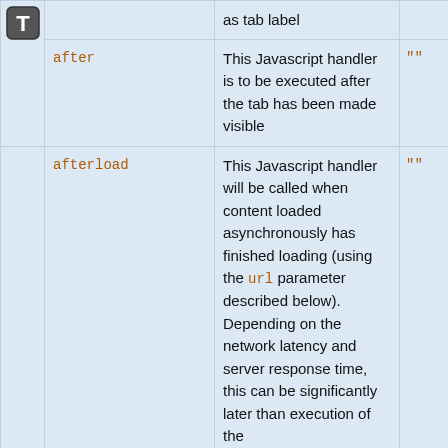|  | Parameter | Description | Default |
| --- | --- | --- | --- |
| [T icon] |  | as tab label |  |
|  | after | This Javascript handler is to be executed after the tab has been made visible | "" |
|  | afterload | This Javascript handler will be called when content loaded asynchronously has finished loading (using the url parameter described below). Depending on the network latency and server response time, this can be significantly later than execution of the... | "" |